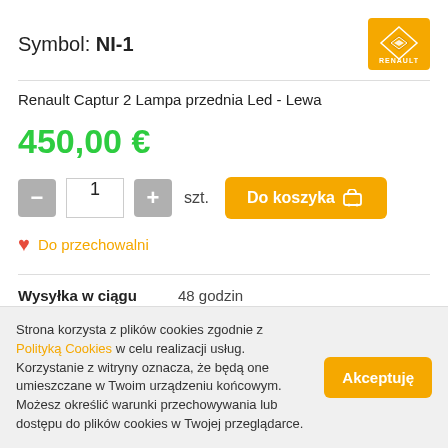Symbol: NI-1
Renault Captur 2 Lampa przednia Led - Lewa
450,00 €
1 szt. Do koszyka
Do przechowalni
Wysyłka w ciągu   48 godzin
Cena przesyłki   0,00 €
Strona korzysta z plików cookies zgodnie z Polityką Cookies w celu realizacji usług. Korzystanie z witryny oznacza, że będą one umieszczane w Twoim urządzeniu końcowym. Możesz określić warunki przechowywania lub dostępu do plików cookies w Twojej przeglądarce.
Akceptuję